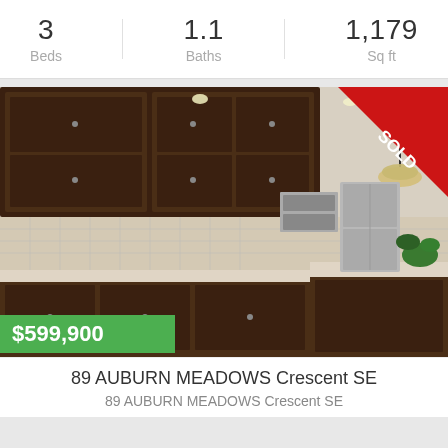3
Beds
1.1
Baths
1,179
Sq ft
[Figure (photo): Interior kitchen photo of a modern home with dark wood cabinets, granite countertops, stainless steel appliances, pendant lighting, and hardwood floors. A red 'SOLD' banner appears in the top-right corner. A green price badge showing '$599,900' appears in the bottom-left corner.]
89 AUBURN MEADOWS Crescent SE
89 AUBURN MEADOWS Crescent SE